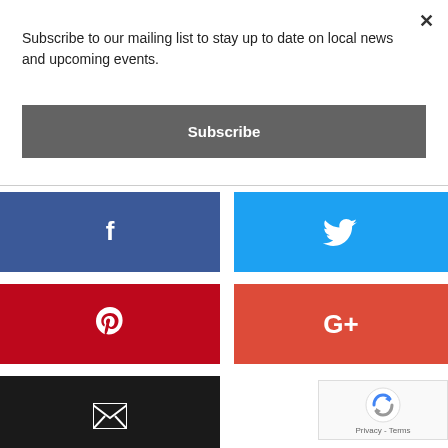×
Subscribe to our mailing list to stay up to date on local news and upcoming events.
Subscribe
[Figure (infographic): Social share buttons: Facebook (blue), Twitter (light blue), Pinterest (red), Google+ (orange-red), Email (black)]
[Figure (other): reCAPTCHA badge with Privacy and Terms links]